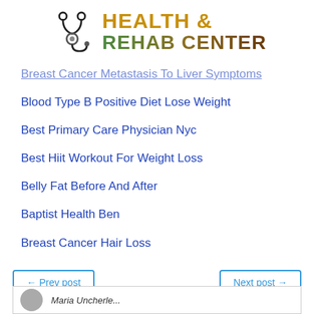[Figure (logo): Health & Rehab Center logo with stethoscope icon and colorful text]
Breast Cancer Metastasis To Liver Symptoms
Blood Type B Positive Diet Lose Weight
Best Primary Care Physician Nyc
Best Hiit Workout For Weight Loss
Belly Fat Before And After
Baptist Health Ben
Breast Cancer Hair Loss
← Prev post
Next post →